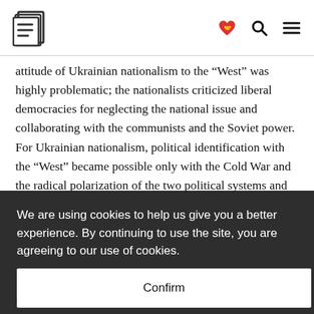E logo navigation header with heart handshake icon, search icon, and menu icon
attitude of Ukrainian nationalism to the “West” was highly problematic; the nationalists criticized liberal democracies for neglecting the national issue and collaborating with the communists and the Soviet power. For Ukrainian nationalism, political identification with the “West” became possible only with the Cold War and the radical polarization of the two political systems and
We are using cookies to help us give you a better experience. By continuing to use the site, you are agreeing to our use of cookies.
Confirm
times, when even the Volga Tatars claim to be